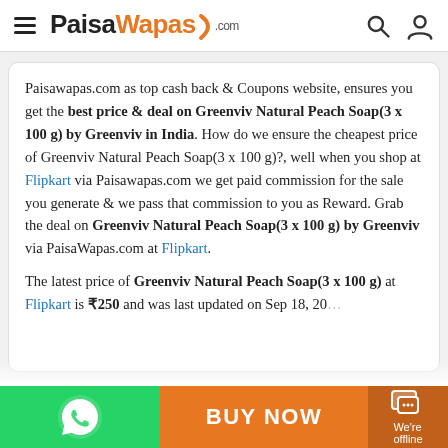PaisaWapas.com
Paisawapas.com as top cash back & Coupons website, ensures you get the best price & deal on Greenviv Natural Peach Soap(3 x 100 g) by Greenviv in India. How do we ensure the cheapest price of Greenviv Natural Peach Soap(3 x 100 g)?, well when you shop at Flipkart via Paisawapas.com we get paid commission for the sale you generate & we pass that commission to you as Reward. Grab the deal on Greenviv Natural Peach Soap(3 x 100 g) by Greenviv via PaisaWapas.com at Flipkart.
The latest price of Greenviv Natural Peach Soap(3 x 100 g) at Flipkart is ₹250 and was last updated on Sep 18, 20...